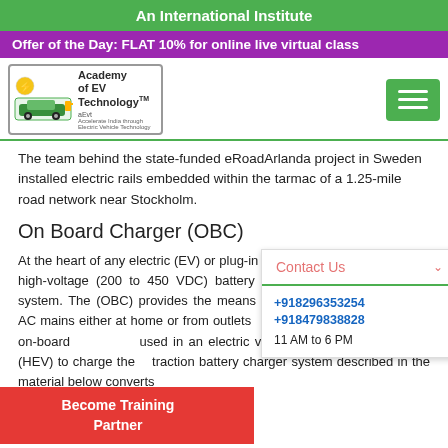An International Institute
Offer of the Day: FLAT 10% for online live virtual class
[Figure (logo): Academy of EV Technology (aEvt) logo with electric vehicle icon]
The team behind the state-funded eRoadArlanda project in Sweden installed electric rails embedded within the tarmac of a 1.25-mile road network near Stockholm.
On Board Charger (OBC)
At the heart of any electric (EV) or plug-in hybrid (HEV) vehicle lays the high-voltage (200 to 450 VDC) battery and its associated charging system. The (OBC) provides the means to recharge the AC mains either at home or from outlets public charging stations. An on-board used in an electric vehicle (EV) or hybrid (HEV) to charge the traction battery charger system described in the material below converts
Contact Us
+918296353254
+918479838828
11 AM to 6 PM
Become Training Partner